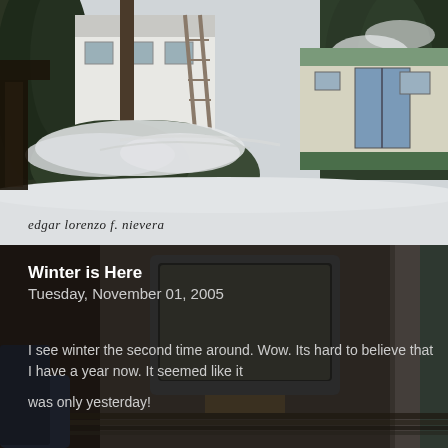[Figure (photo): Winter scene showing snow-covered yard with buildings. A white house with green trim is visible in the background, along with a ladder, snow-laden evergreen trees, and a small trailer in the snowy yard. Watermark reads 'edgar lorenzo f. nievera' in italic serif font at the bottom left of the photo.]
Winter is Here
Tuesday, November 01, 2005
I see winter the second time around. Wow. Its hard to believe that I have a year now. It seemed like it

was only yesterday!